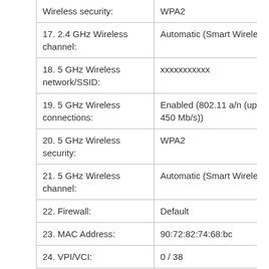| Setting | Value |
| --- | --- |
| Wireless security: | WPA2 |
| 17. 2.4 GHz Wireless channel: | Automatic (Smart Wireless) |
| 18. 5 GHz Wireless network/SSID: | xxxxxxxxxxx |
| 19. 5 GHz Wireless connections: | Enabled (802.11 a/n (up to 450 Mb/s)) |
| 20. 5 GHz Wireless security: | WPA2 |
| 21. 5 GHz Wireless channel: | Automatic (Smart Wireless) |
| 22. Firewall: | Default |
| 23. MAC Address: | 90:72:82:74:68:bc |
| 24. VPI/VCI: | 0 / 38 |